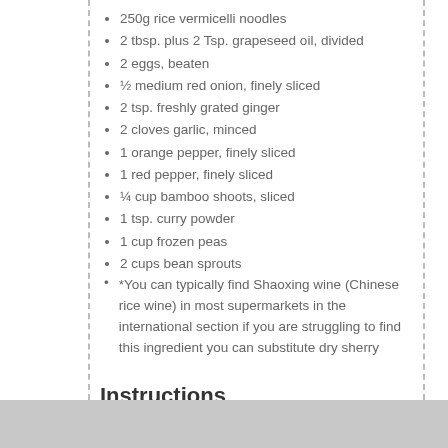250g rice vermicelli noodles
2 tbsp. plus 2 Tsp. grapeseed oil, divided
2 eggs, beaten
½ medium red onion, finely sliced
2 tsp. freshly grated ginger
2 cloves garlic, minced
1 orange pepper, finely sliced
1 red pepper, finely sliced
¼ cup bamboo shoots, sliced
1 tsp. curry powder
1 cup frozen peas
2 cups bean sprouts
*You can typically find Shaoxing wine (Chinese rice wine) in most supermarkets in the international section if you are struggling to find this ingredient you can substitute dry sherry
Instructions